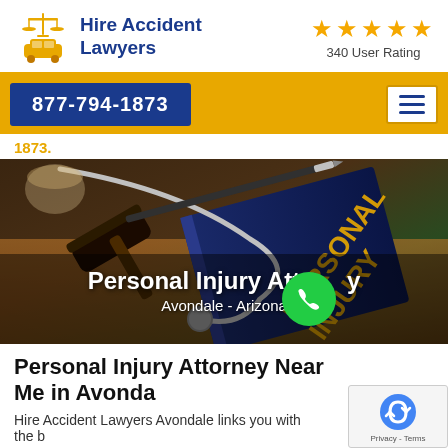[Figure (logo): Hire Accident Lawyers logo with scales of justice and car icon in gold, company name in dark blue]
340 User Rating with 5 gold stars
877-794-1873
1873.
[Figure (photo): Personal injury book with gavel and stethoscope on a desk. Overlay text: Personal Injury Attorney, Avondale - Arizona, with green phone call button]
Personal Injury Attorney Near Me in Avonda
Hire Accident Lawyers Avondale links you with the b